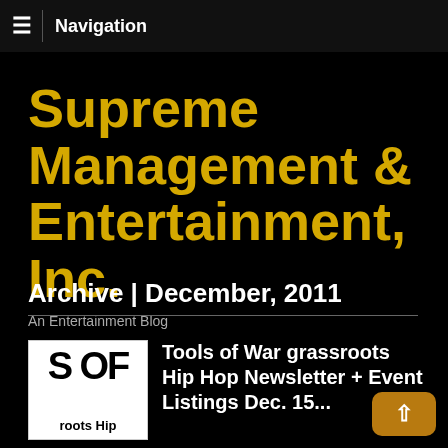≡  Navigation
Supreme Management & Entertainment, Inc.
An Entertainment Blog
Archive | December, 2011
[Figure (logo): Partial logo showing 'S OF' text and 'roots Hip' text on white background]
Tools of War grassroots Hip Hop Newsletter + Event Listings Dec. 15...